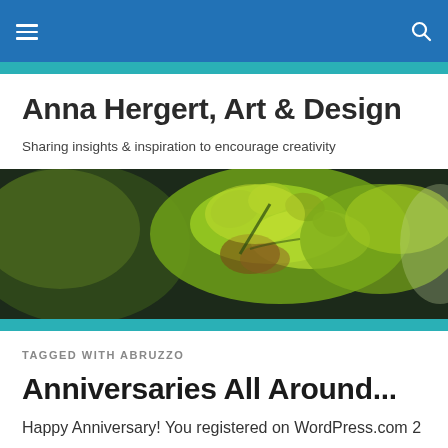Navigation bar with menu and search icons
Anna Hergert, Art & Design
Sharing insights & inspiration to encourage creativity
[Figure (photo): Close-up macro photograph of green plant leaves/sprouts against a dark background]
TAGGED WITH ABRUZZO
Anniversaries All Around...
Happy Anniversary! You registered on WordPress.com 2